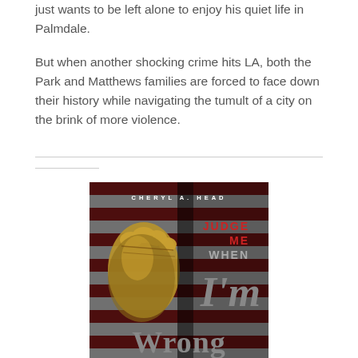just wants to be left alone to enjoy his quiet life in Palmdale.
But when another shocking crime hits LA, both the Park and Matthews families are forced to face down their history while navigating the tumult of a city on the brink of more violence.
[Figure (illustration): Book cover for 'Judge Me When I'm Wrong' by Cheryl A. Head. Features a gold/bronze fist against an American flag background. Author name in white spaced capitals at top. 'JUDGE ME WHEN' in red text on right side. 'I'm Wrong' in large grey serif italic text.]